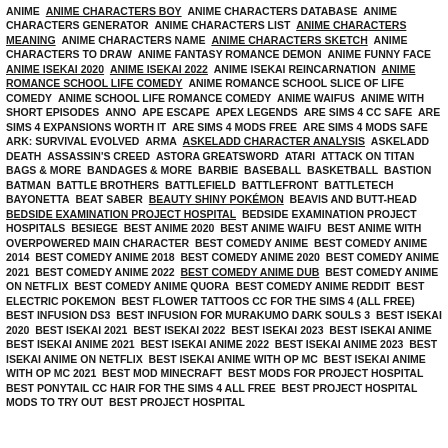ANIME  ANIME CHARACTERS BOY  ANIME CHARACTERS DATABASE  ANIME CHARACTERS GENERATOR  ANIME CHARACTERS LIST  ANIME CHARACTERS MEANING  ANIME CHARACTERS NAME  ANIME CHARACTERS SKETCH  ANIME CHARACTERS TO DRAW  ANIME FANTASY ROMANCE DEMON  ANIME FUNNY FACE  ANIME ISEKAI 2020  ANIME ISEKAI 2022  ANIME ISEKAI REINCARNATION  ANIME ROMANCE SCHOOL LIFE COMEDY  ANIME ROMANCE SCHOOL SLICE OF LIFE COMEDY  ANIME SCHOOL LIFE ROMANCE COMEDY  ANIME WAIFUS  ANIME WITH SHORT EPISODES  ANNO  APE ESCAPE  APEX LEGENDS  ARE SIMS 4 CC SAFE  ARE SIMS 4 EXPANSIONS WORTH IT  ARE SIMS 4 MODS FREE  ARE SIMS 4 MODS SAFE  ARK: SURVIVAL EVOLVED  ARMA  ASKELADD CHARACTER ANALYSIS  ASKELADD DEATH  ASSASSIN'S CREED  ASTORA GREATSWORD  ATARI  ATTACK ON TITAN  BAGS & MORE  BANDAGES & MORE  BARBIE  BASEBALL  BASKETBALL  BASTION  BATMAN  BATTLE BROTHERS  BATTLEFIELD  BATTLEFRONT  BATTLETECH  BAYONETTA  BEAT SABER  BEAUTY SHINY POKÉMON  BEAVIS AND BUTT-HEAD  BEDSIDE EXAMINATION PROJECT HOSPITAL  BEDSIDE EXAMINATION PROJECT HOSPITALS  BESIEGE  BEST ANIME 2020  BEST ANIME WAIFU  BEST ANIME WITH OVERPOWERED MAIN CHARACTER  BEST COMEDY ANIME  BEST COMEDY ANIME 2014  BEST COMEDY ANIME 2018  BEST COMEDY ANIME 2020  BEST COMEDY ANIME 2021  BEST COMEDY ANIME 2022  BEST COMEDY ANIME DUB  BEST COMEDY ANIME ON NETFLIX  BEST COMEDY ANIME QUORA  BEST COMEDY ANIME REDDIT  BEST ELECTRIC POKEMON  BEST FLOWER TATTOOS CC FOR THE SIMS 4 (ALL FREE)  BEST INFUSION DS3  BEST INFUSION FOR MURAKUMO DARK SOULS 3  BEST ISEKAI 2020  BEST ISEKAI 2021  BEST ISEKAI 2022  BEST ISEKAI 2023  BEST ISEKAI ANIME  BEST ISEKAI ANIME 2021  BEST ISEKAI ANIME 2022  BEST ISEKAI ANIME 2023  BEST ISEKAI ANIME ON NETFLIX  BEST ISEKAI ANIME WITH OP MC  BEST ISEKAI ANIME WITH OP MC 2021  BEST MOD MINECRAFT  BEST MODS FOR PROJECT HOSPITAL  BEST PONYTAIL CC HAIR FOR THE SIMS 4 ALL FREE  BEST PROJECT HOSPITAL MODS TO TRY OUT  BEST PROJECT HOSPITAL